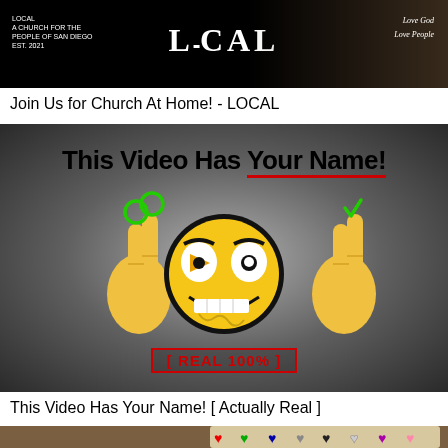[Figure (screenshot): Thumbnail for LOCAL church YouTube video showing LOCAL logo and text on black background]
Join Us for Church At Home! - LOCAL
[Figure (screenshot): YouTube thumbnail with dark radial gradient background showing 'This Video Has Your Name!' text with red underline, cartoon troll face emoji with crossed fingers emojis on each side, and [ REAL 100% ] text in red]
This Video Has Your Name! [ Actually Real ]
[Figure (screenshot): Partial thumbnail showing pixelated hearts bar at top right and a figure with red arrow on brick wall background]